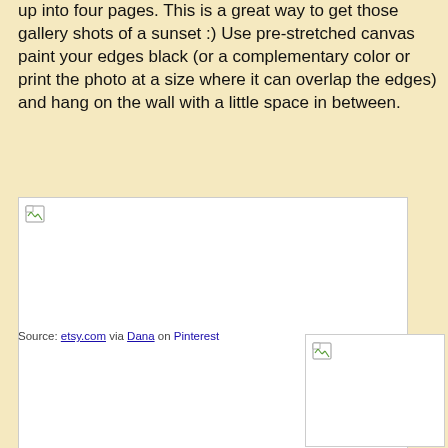up into four pages. This is a great way to get those gallery shots of a sunset :) Use pre-stretched canvas paint your edges black (or a complementary color or print the photo at a size where it can overlap the edges) and hang on the wall with a little space in between.
[Figure (photo): Broken image placeholder - large white rectangle with broken image icon in top-left corner]
Source: etsy.com via Dana on Pinterest
[Figure (photo): Broken image placeholder - smaller white rectangle with broken image icon in top-left corner]